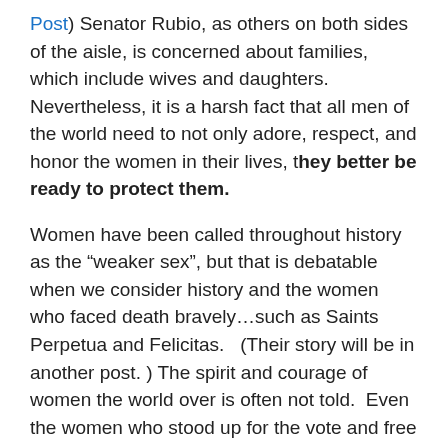Post) Senator Rubio, as others on both sides of the aisle, is concerned about families, which include wives and daughters.   Nevertheless, it is a harsh fact that all men of the world need to not only adore, respect, and honor the women in their lives, they better be ready to protect them.
Women have been called throughout history as the “weaker sex”, but that is debatable when we consider history and the women who faced death bravely…such as Saints Perpetua and Felicitas.   (Their story will be in another post. ) The spirit and courage of women the world over is often not told.  Even the women who stood up for the vote and free speech were no cowards.  In our modern times, the military women who brave the training in  boot camps along with men, in order to serve their country with